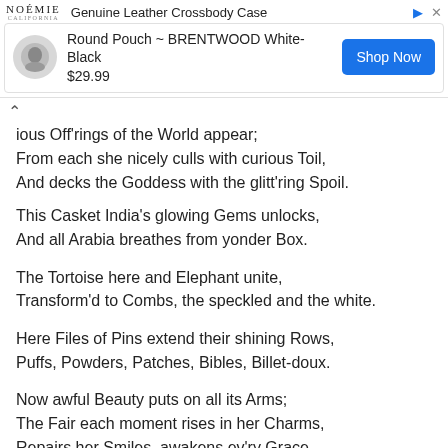[Figure (other): Advertisement banner for NOÉMIE Genuine Leather Crossbody Case - Round Pouch BRENTWOOD White-Black, $29.99, with Shop Now button]
ious Off'rings of the World appear;
From each she nicely culls with curious Toil,
And decks the Goddess with the glitt'ring Spoil.
This Casket India's glowing Gems unlocks,
And all Arabia breathes from yonder Box.
The Tortoise here and Elephant unite,
Transform'd to Combs, the speckled and the white.
Here Files of Pins extend their shining Rows,
Puffs, Powders, Patches, Bibles, Billet-doux.
Now awful Beauty puts on all its Arms;
The Fair each moment rises in her Charms,
Repairs her Smiles, awakens ev'ry Grace,
And calls forth all the Wonders of her Face;
Sees by Degrees a purer Blush arise,